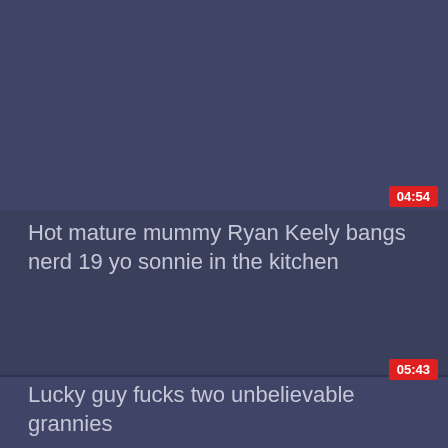[Figure (screenshot): Video thumbnail placeholder, dark blue-gray background, top card]
04:54
Hot mature mummy Ryan Keely bangs nerd 19 yo sonnie in the kitchen
[Figure (screenshot): Video thumbnail placeholder, dark blue-gray background, bottom card]
05:43
Lucky guy fucks two unbelievable grannies